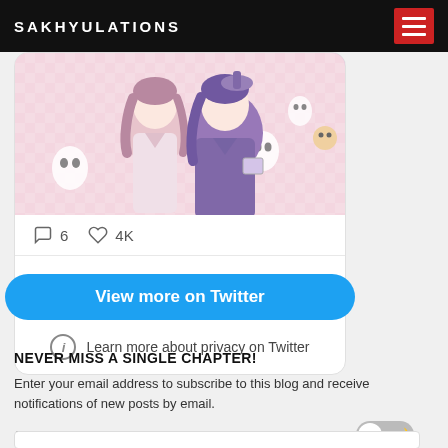SAKHYULATIONS
[Figure (illustration): Anime-style illustration showing two chibi characters in traditional Japanese clothing (kimono), one in pink/white and one in purple/dark robes, with ghost-like spirits floating around them, on a light pink checkered background]
6   4K
View more on Twitter
Learn more about privacy on Twitter
NEVER MISS A SINGLE CHAPTER!
Enter your email address to subscribe to this blog and receive notifications of new posts by email.
Join 2,948 other subscribers